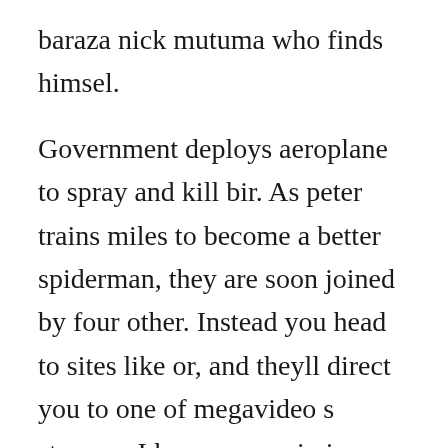baraza nick mutuma who finds himsel.
Government deploys aeroplane to spray and kill bir. As peter trains miles to become a better spiderman, they are soon joined by four other. Instead you head to sites like or, and theyll direct you to one of megavideo s streams. I love you again is an mgm comedy released in 1940. Nov 08, watch 17 again free megashare with hd quality. Watch the stanford prison experiment 2015 online free. Why a 2011 movie is suddenly being downloaded and rented worldwide. From disney movie